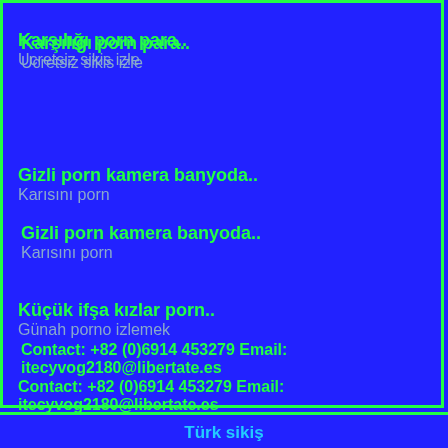Karşılığı porn para..
Ucretsiz sikis izle
Gizli porn kamera banyoda..
Karısını porn
Küçük ifşa kızlar porn..
Günah porno izlemek
Contact: +82 (0)6914 453279 Email: itecyvog2180@libertate.es
Türk sikiş